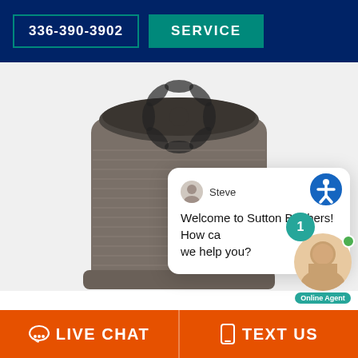336-390-3902   SERVICE
[Figure (photo): HVAC/air conditioning central unit, gray metal exterior, top fan grill visible, on white background]
[Figure (screenshot): Live chat widget popup showing agent 'Steve' with message: Welcome to Sutton Brothers! How can we help you? Accessibility icon visible. Agent photo with online indicator badge showing notification count 1 and 'Online Agent' label.]
LIVE CHAT   TEXT US